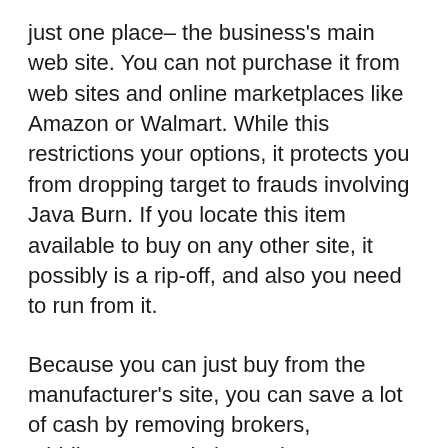just one place– the business's main web site. You can not purchase it from web sites and online marketplaces like Amazon or Walmart. While this restrictions your options, it protects you from dropping target to frauds involving Java Burn. If you locate this item available to buy on any other site, it possibly is a rip-off, and also you need to run from it.
Because you can just buy from the manufacturer's site, you can save a lot of cash by removing brokers, middlemans, and also go-betweens. You can additionally ensure obtaining the genuine bargain when acquiring Java Burn straight from the maker. It is readily available in three distinct plans– the 30, 90, as well as 180-day supply. Below is a break down of the rates: